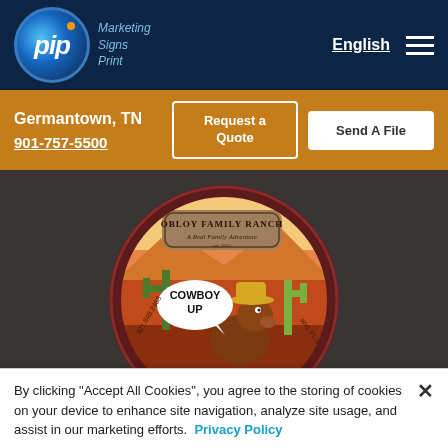PIP Marketing Signs Print — English
Germantown, TN
901-757-5500
Request a Quote
Send A File
[Figure (photo): Circular embroidered patch for Obloy Family Ranch showing a cartoon cowboy horse with the text 'COWBOY UP', 'OBLOY FAMILY RANCH', 'A Real Family Adventure', on a dark fabric background.]
By clicking “Accept All Cookies”, you agree to the storing of cookies on your device to enhance site navigation, analyze site usage, and assist in our marketing efforts.  Privacy Policy